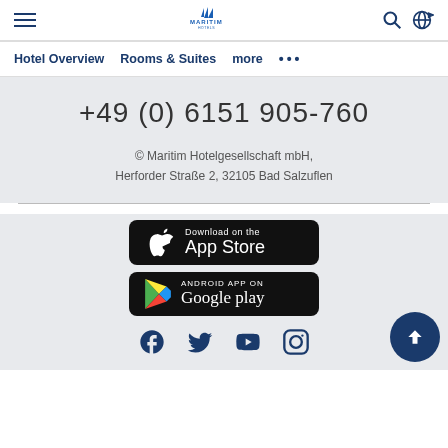Maritim Hotels navigation bar with hamburger menu, logo, search and language icons
Hotel Overview    Rooms & Suites    more ···
+49 (0) 6151 905-760
© Maritim Hotelgesellschaft mbH, Herforder Straße 2, 32105 Bad Salzuflen
[Figure (logo): Download on the App Store button]
[Figure (logo): Android App on Google Play button]
[Figure (infographic): Social media icons: Facebook, Twitter, YouTube, Instagram]